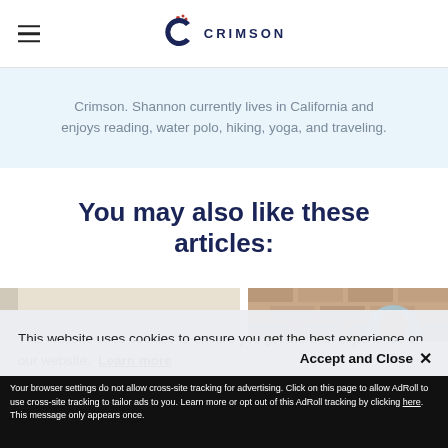CRIMSON
Crimson. Shannon currently lives in California and enjoys reading, water polo, hiking, yoga, and traveling.
You may also like these articles:
[Figure (photo): Two article thumbnail photos side by side - left shows cardboard boxes in a room, right shows a person wearing a hijab against a brick wall background]
This website uses cookies to ensure you get the best experience on our website. Learn more
Accept and Close ✕
Your browser settings do not allow cross-site tracking for advertising. Click on this page to allow AdRoll to use cross-site tracking to tailor ads to you. Learn more or opt out of this AdRoll tracking by clicking here. This message only appears once.